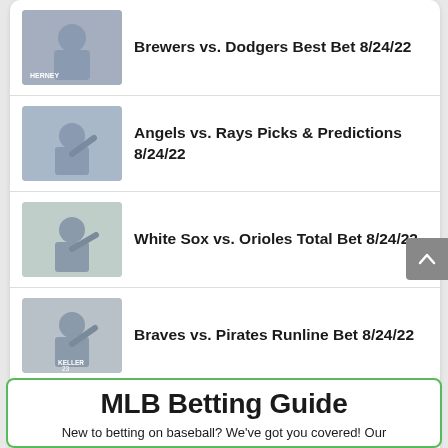Brewers vs. Dodgers Best Bet 8/24/22
Angels vs. Rays Picks & Predictions 8/24/22
White Sox vs. Orioles Total Bet 8/24/22
Braves vs. Pirates Runline Bet 8/24/22
Take the Home Dog: Rangers vs. Rockies Pick
MLB Betting Guide
New to betting on baseball? We've got you covered! Our